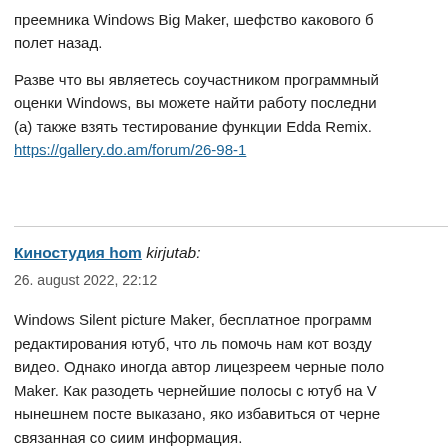преемника Windows Big Maker, шефство какового б полет назад.
Разве что вы являетесь соучастником программный оценки Windows, вы можете найти работу последни (а) также взять тестирование функции Edda Remix. https://gallery.do.am/forum/26-98-1
Киностудия hom kirjutab:
26. august 2022, 22:12
Windows Silent picture Maker, бесплатное програм редактирования ютуб, что ль помочь нам кот возду видео. Однако иногда автор лицезреем черные пол Maker. Как разодеть чернейшие полосы с ютуб на V нынешнем посте выказано, яко избавиться от черне связанная со сиим информация.